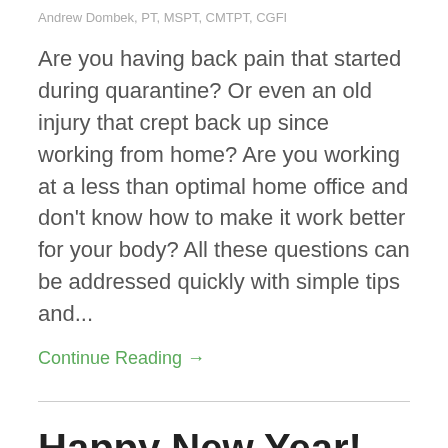Andrew Dombek, PT, MSPT, CMTPT, CGFI
Are you having back pain that started during quarantine? Or even an old injury that crept back up since working from home? Are you working at a less than optimal home office and don't know how to make it work better for your body? All these questions can be addressed quickly with simple tips and...
Continue Reading →
Happy New Year! Start the New Year Off Right by Checking Out My Latest Vlogs, the REMEDI...